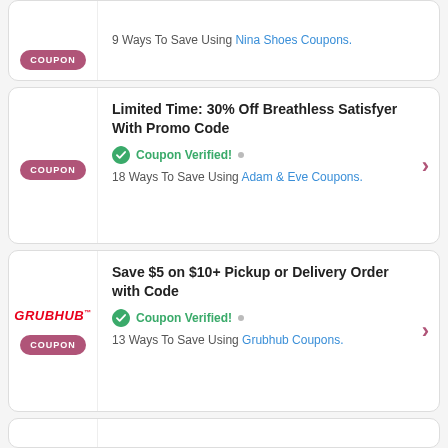[Figure (other): Partial coupon card at top - Nina Shoes coupon badge and text '9 Ways To Save Using Nina Shoes Coupons.']
[Figure (other): Coupon card: Limited Time: 30% Off Breathless Satisfyer With Promo Code. Coupon Verified! 18 Ways To Save Using Adam & Eve Coupons.]
[Figure (other): Coupon card: Save $5 on $10+ Pickup or Delivery Order with Code. Grubhub logo. Coupon Verified! 13 Ways To Save Using Grubhub Coupons.]
[Figure (other): Partial coupon card at bottom, mostly cut off.]